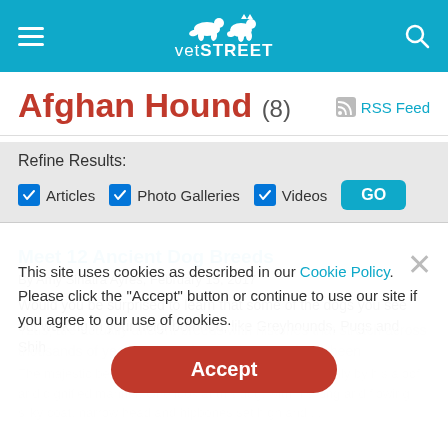vetSTREET
Afghan Hound (8)
RSS Feed
Refine Results:
Articles  Photo Galleries  Videos  GO
Meet 12 Ancient Dog Breeds
By Amy Sinatra Ayres, February 15, 2017
Would you be surprised to learn that some of the dogs you see out walking in your neighborhood, like Greyhounds, Pugs and Shih
This site uses cookies as described in our Cookie Policy. Please click the "Accept" button or continue to use our site if you agree to our use of cookies.
Accept